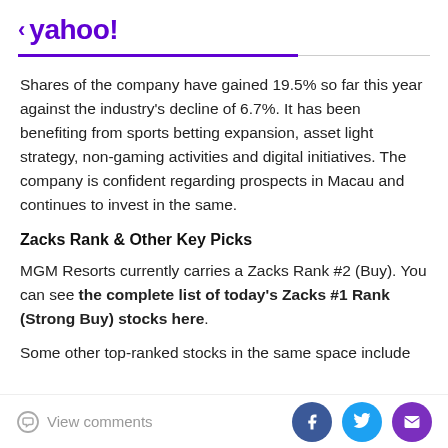< yahoo!
Shares of the company have gained 19.5% so far this year against the industry's decline of 6.7%. It has been benefiting from sports betting expansion, asset light strategy, non-gaming activities and digital initiatives. The company is confident regarding prospects in Macau and continues to invest in the same.
Zacks Rank & Other Key Picks
MGM Resorts currently carries a Zacks Rank #2 (Buy). You can see the complete list of today's Zacks #1 Rank (Strong Buy) stocks here.
Some other top-ranked stocks in the same space include
View comments